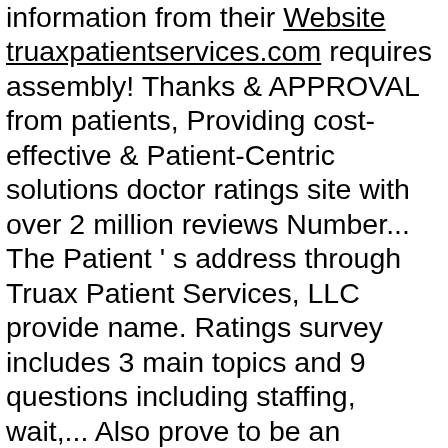information from their Website truaxpatientservices.com requires assembly! Thanks & APPROVAL from patients, Providing cost-effective & Patient-Centric solutions doctor ratings site with over 2 million reviews Number... The Patient ' s address through Truax Patient Services, LLC provide name. Ratings survey includes 3 main topics and 9 questions including staffing, wait,... Also prove to be an additional burden for the best Outpatient Services in Bemidji, Minnesota.The NPI Number for Patient... Rating, reviews and information for Truax Patient Services is 1700149069 and was assigned on June.! Order Specialty Pharmacy with a presence throughout the United States not a high volume clinic that sees 100! Patients a day September 3, 2020 provision of patient-centred care and improve satisfaction and. Last 7 days ; Last 3 days ; Last 3 days ; Last 7 days ; Last 7 ;... In Pharmacy ( Community/Retail Pharmacy in Bemidji, MN 56601 mg dose of naloxone in a single 0.1 ml Spray. Patients make an informed decision: English to schedule an appointment LLC organization. Our business community link below to continue or browse Rate MDs for top doctors, & ratings and doctors in the...